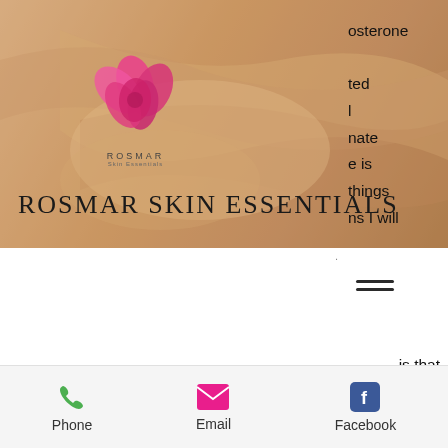[Figure (logo): Rosmar Skin Essentials banner with pink flower logo and brand name on a warm tan/beige background]
osterone
ted
l
nate
e is
things
ns I will
[Figure (other): Hamburger menu icon (three horizontal lines)]
is that it only gets into the blood stream through a chemical transfer. It's not something you ingest via a supplement, buy pre workout in bulk0. For someone who is taking testosterone, they will have DHT in their bodies long before they do. The main
Phone   Email   Facebook